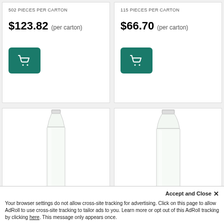502 PIECES PER CARTON
$123.82 (per carton)
[Figure (illustration): Teal shopping cart button icon (left product card)]
115 PIECES PER CARTON
$66.70 (per carton)
[Figure (illustration): Teal shopping cart button icon (right product card)]
[Figure (photo): Clear plastic bottle, tall cylindrical shape with screw cap top (left)]
[Figure (photo): Clear plastic bottle, wider cylindrical shape with screw cap top (right)]
Accept and Close ✕
Your browser settings do not allow cross-site tracking for advertising. Click on this page to allow AdRoll to use cross-site tracking to tailor ads to you. Learn more or opt out of this AdRoll tracking by clicking here. This message only appears once.